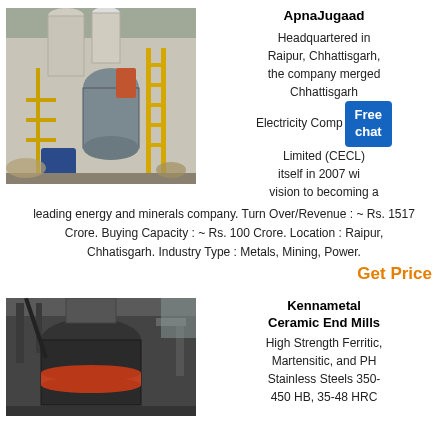[Figure (photo): Industrial grinding mill machinery inside a factory building with yellow scaffolding and large pipes]
ApnaJugaad
Headquartered in Raipur, Chhattisgarh, the company merged Chhattisgarh Electricity Company Limited (CECL) itself in 2007 with vision to becoming a leading energy and minerals company. Turn Over/Revenue : ~ Rs. 1517 Crore. Buying Capacity : ~ Rs. 100 Crore. Location : Raipur, Chhatisgarh. Industry Type : Metals, Mining, Power.
Get Price
[Figure (photo): Large dark industrial ceramic end mill machinery with orange band/ring visible]
Kennametal Ceramic End Mills
High Strength Ferritic, Martensitic, and PH Stainless Steels 350-450 HB, 35-48 HRC